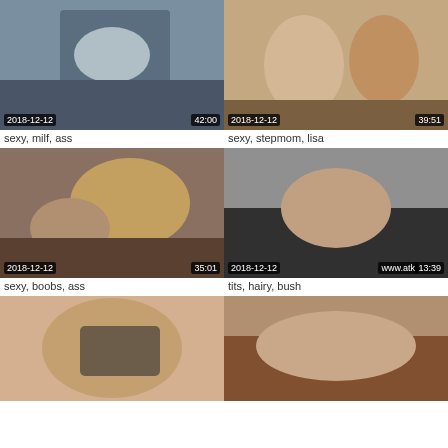[Figure (photo): Video thumbnail 1 with date 2018-12-12 and duration 42:00]
sexy, milf, ass
[Figure (photo): Video thumbnail 2 with date 2018-12-12 and duration 39:51]
sexy, stepmom, lisa
[Figure (photo): Video thumbnail 3 with date 2018-12-12 and duration 35:01]
sexy, boobs, ass
[Figure (photo): Video thumbnail 4 with date 2018-12-12, watermark www.atk, duration 13:39]
tits, hairy, bush
[Figure (photo): Video thumbnail 5, partial view]
[Figure (photo): Video thumbnail 6, partial view]